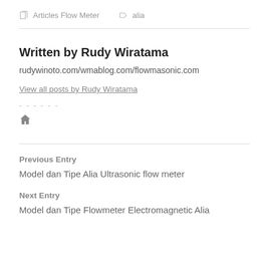Articles Flow Meter   alia
Written by Rudy Wiratama
rudywinoto.com/wmablog.com/flowmasonic.com
View all posts by Rudy Wiratama
-------
Previous Entry
Model dan Tipe Alia Ultrasonic flow meter
Next Entry
Model dan Tipe Flowmeter Electromagnetic Alia